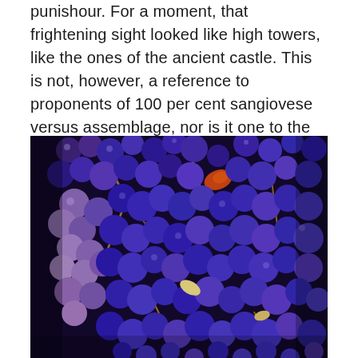punishour. For a moment, that frightening sight looked like high towers, like the ones of the ancient castle. This is not, however, a reference to proponents of 100 per cent sangiovese versus assemblage, nor is it one to the soils of Chianti Classico, but only a coincidental notation with respect to discussing what lays underground.
[Figure (photo): Close-up photograph of dark blue/purple sangiovese grape clusters, viewed from above, filling the entire frame. The grapes are densely packed with golden-brown stems visible between them.]